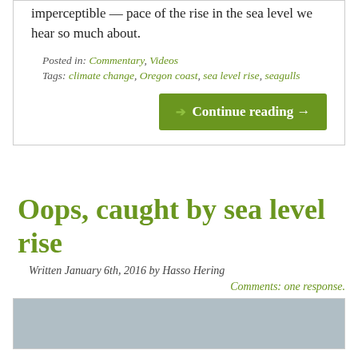imperceptible — pace of the rise in the sea level we hear so much about.
Posted in: Commentary, Videos
Tags: climate change, Oregon coast, sea level rise, seagulls
Continue reading →
Oops, caught by sea level rise
Written January 6th, 2016 by Hasso Hering
Comments: one response.
[Figure (photo): Gray image placeholder at the bottom of the page]